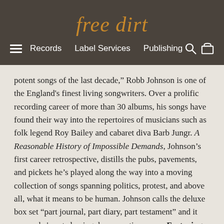free dirt
Records  Label Services  Publishing
potent songs of the last decade,” Robb Johnson is one of the England's finest living songwriters. Over a prolific recording career of more than 30 albums, his songs have found their way into the repertoires of musicians such as folk legend Roy Bailey and cabaret diva Barb Jungr. A Reasonable History of Impossible Demands, Johnson’s first career retrospective, distills the pubs, pavements, and pickets he’s played along the way into a moving collection of songs spanning politics, protest, and above all, what it means to be human. Johnson calls the deluxe box set “part journal, part diary, part testament” and it proves he's not slowing down anytime soon. Featuring 92 songs on 5 CDs, and includes both previously released classics as well